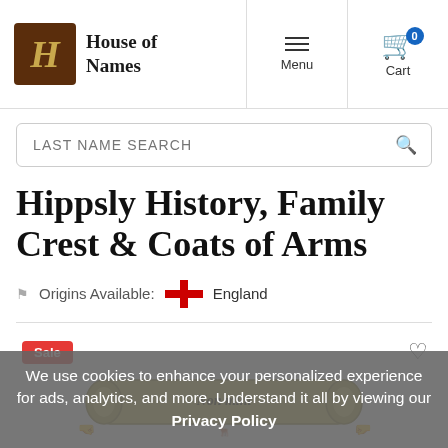House of Names — Menu | Cart (0)
LAST NAME SEARCH
Hippsly History, Family Crest & Coats of Arms
Origins Available: England
[Figure (illustration): Heraldic scroll illustration with text 'Non mihi' held by decorative figures]
We use cookies to enhance your personalized experience for ads, analytics, and more. Understand it all by viewing our Privacy Policy